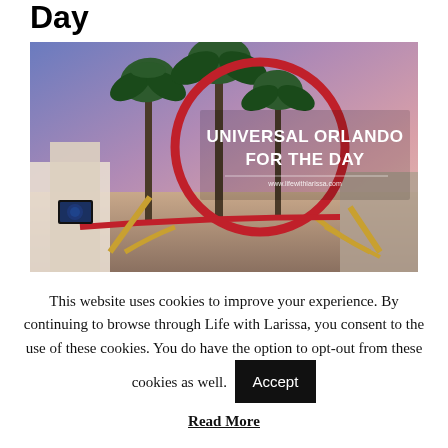Day
[Figure (photo): Universal Orlando theme park at dusk showing a large red loop roller coaster, palm trees, and a purple/pink sky. Text overlay reads 'UNIVERSAL ORLANDO FOR THE DAY' with website url www.lifewithlarissa.com]
This website uses cookies to improve your experience. By continuing to browse through Life with Larissa, you consent to the use of these cookies. You do have the option to opt-out from these cookies as well.
Accept
Read More